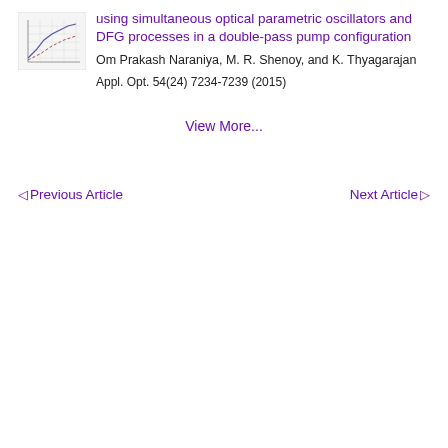[Figure (other): Small thumbnail image of a scientific chart/graph with grid lines, shown in the top-left corner next to the article title]
using simultaneous optical parametric oscillators and DFG processes in a double-pass pump configuration
Om Prakash Naraniya, M. R. Shenoy, and K. Thyagarajan
Appl. Opt. 54(24) 7234-7239 (2015)
View More...
◁Previous Article
Next Article ▷